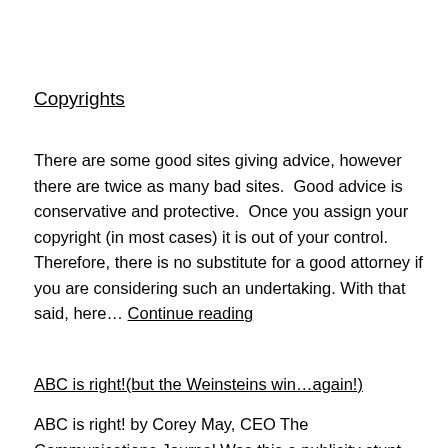Copyrights
There are some good sites giving advice, however there are twice as many bad sites.  Good advice is conservative and protective.  Once you assign your copyright (in most cases) it is out of your control. Therefore, there is no substitute for a good attorney if you are considering such an undertaking. With that said, here… Continue reading
ABC is right!(but the Weinsteins win…again!)
ABC is right! by Corey May, CEO The Communications Journal Was this a publicity stunt